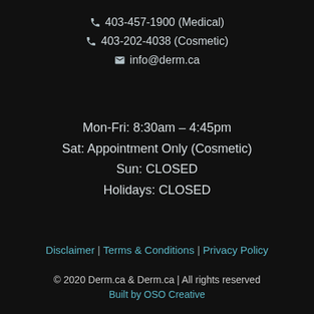403-457-1900 (Medical)
403-202-4038 (Cosmetic)
info@derm.ca
Mon-Fri: 8:30am – 4:45pm
Sat: Appointment Only (Cosmetic)
Sun: CLOSED
Holidays: CLOSED
Disclaimer | Terms & Conditions | Privacy Policy
© 2020 Derm.ca & Derm.ca | All rights reserved
Built by OSO Creative